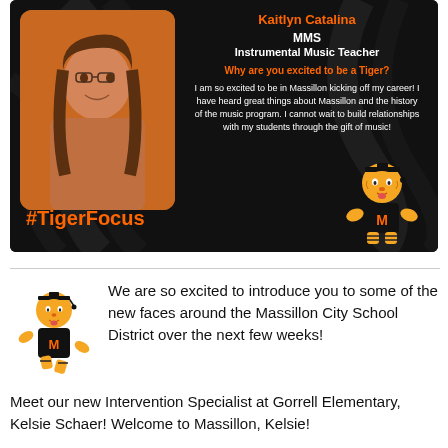[Figure (infographic): Tiger Focus staff spotlight card on black background with tiger stripe design. Shows a photo of a young woman with glasses and long brown hair on an orange background on the left. Right side shows text: MMS, Instrumental Music Teacher, Why are you excited to be a Tiger? with answer text. Bottom left shows #TigerFocus in orange. Bottom right shows tiger mascot illustration.]
We are so excited to introduce you to some of the new faces around the Massillon City School District over the next few weeks! Meet our new Intervention Specialist at Gorrell Elementary, Kelsie Schaer! Welcome to Massillon, Kelsie!